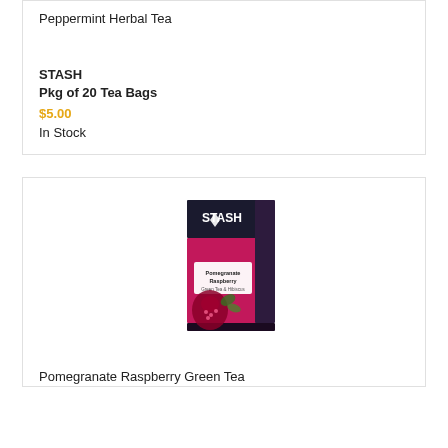Peppermint Herbal Tea
STASH
Pkg of 20 Tea Bags
$5.00
In Stock
[Figure (photo): Stash Tea box - Pomegranate Raspberry Green Tea, black and pink packaging with pomegranate fruit imagery]
Pomegranate Raspberry Green Tea